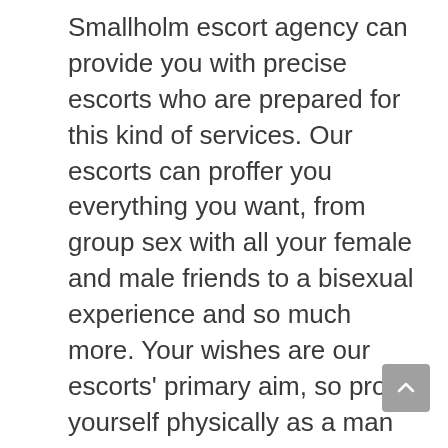Smallholm escort agency can provide you with precise escorts who are prepared for this kind of services. Our escorts can proffer you everything you want, from group sex with all your female and male friends to a bisexual experience and so much more. Your wishes are our escorts' primary aim, so prove yourself physically as a man and let them get to know that you are a real man, with a dominant attitude.
Our Smallholm escorts in Dumfries and Galloway are the best and excellent masseurs you can have come across, as they can offer you a soothing massage with aromatic oils, scented sticks and candles so that you can enjoy a passionate, sexual and intense atmosphere in their company. Their sexy and beautiful bodies are preferably thin, and you are free to touch